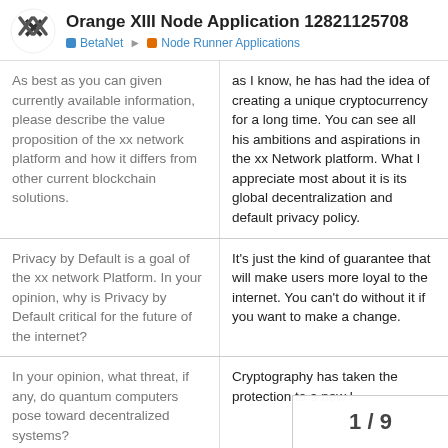Orange XIII Node Application 12821125708 — BetaNet > Node Runner Applications
| Question | Answer |
| --- | --- |
| As best as you can given currently available information, please describe the value proposition of the xx network platform and how it differs from other current blockchain solutions. | as I know, he has had the idea of creating a unique cryptocurrency for a long time. You can see all his ambitions and aspirations in the xx Network platform. What I appreciate most about it is its global decentralization and default privacy policy. |
| Privacy by Default is a goal of the xx network Platform. In your opinion, why is Privacy by Default critical for the future of the internet? | It's just the kind of guarantee that will make users more loyal to the internet. You can't do without it if you want to make a change. |
| In your opinion, what threat, if any, do quantum computers pose toward decentralized systems? | Cryptography has taken the protection to a new l… |
1 / 9